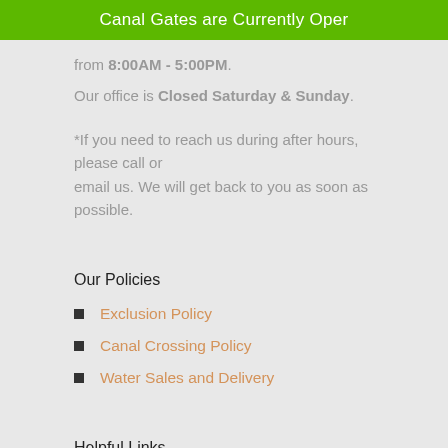Canal Gates are Currently Oper
from 8:00AM - 5:00PM.
Our office is Closed Saturday & Sunday.
*If you need to reach us during after hours, please call or email us. We will get back to you as soon as possible.
Our Policies
Exclusion Policy
Canal Crossing Policy
Water Sales and Delivery
Helpful Links